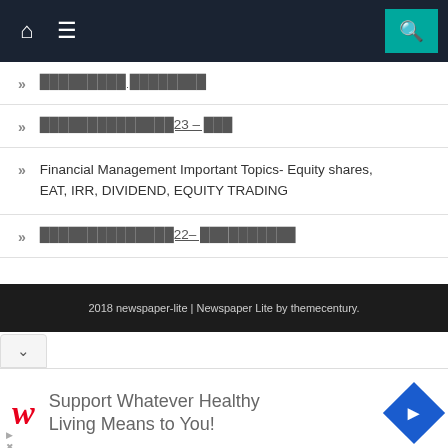Navigation bar with home icon, menu icon, and search icon
[corrupted text] [corrupted text]
[corrupted text]23 – [corrupted]
Financial Management Important Topics- Equity shares, EAT, IRR, DIVIDEND, EQUITY TRADING
[corrupted text]22– [corrupted text]
2018 newspaper-lite | Newspaper Lite by themecentury.
[Figure (screenshot): Advertisement: Walgreens 'Support Whatever Healthy Living Means to You!' ad with navigation arrow icon]
Support Whatever Healthy Living Means to You!